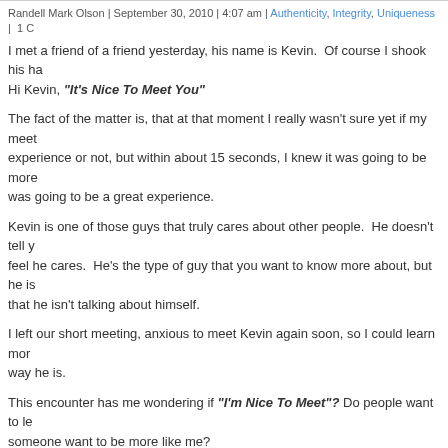Randell Mark Olson | September 30, 2010 | 4:07 am | Authenticity, Integrity, Uniqueness | 1 C
I met a friend of a friend yesterday, his name is Kevin. Of course I shook his ha... Hi Kevin, "It's Nice To Meet You"
The fact of the matter is, that at that moment I really wasn't sure yet if my meet... experience or not, but within about 15 seconds, I knew it was going to be more... was going to be a great experience.
Kevin is one of those guys that truly cares about other people. He doesn't tell y... feel he cares. He's the type of guy that you want to know more about, but he is... that he isn't talking about himself.
I left our short meeting, anxious to meet Kevin again soon, so I could learn mor... way he is.
This encounter has me wondering if "I'm Nice To Meet"? Do people want to le... someone want to be more like me?
I don't want to be selfish, but I want people be interested in who I am, be caus... interested in them. Zig Ziglar says "you can have anything in life you want, if yo... what they want".
That's not a selfish statement, because the focus is on helping, and serving oth... putting other peoples interests before our own, meeting us won't just be Nice, i...